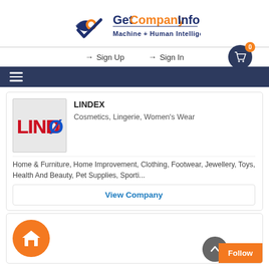[Figure (logo): GetCompanyInfo logo with checkmark/eye icon, text 'GetCompanyInfo' and tagline 'Machine + Human Intelligence']
Sign Up
Sign In
LINDEX
Cosmetics, Lingerie, Women's Wear
Home & Furniture, Home Improvement, Clothing, Footwear, Jewellery, Toys, Health And Beauty, Pet Supplies, Sporti...
View Company
[Figure (logo): The Home Depot logo — orange circle with white house/depot icon]